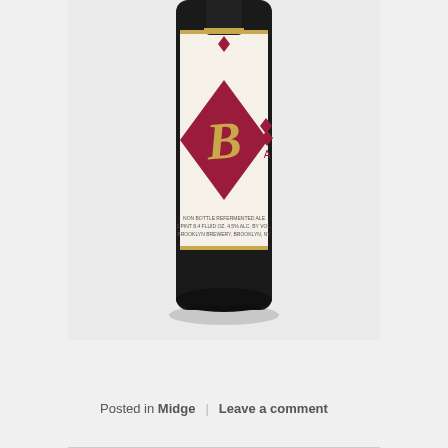[Figure (photo): A dark glass beer bottle with a cream-colored label featuring a large crimson diamond shape containing a stylized gold 'B' letter. Above the diamond is a small crimson diamond suit symbol, and to the right is another small diamond with what appears to be an ace card marker. The label reads 'NON BOTTLE REFERMENTED ALE / 1 PINT 8.4 FLUID OZ. 4.5% ALC. BY VOL. / BROOKLYN BREWERY, BROOKLYN, NY'. The bottle is a Brooklyn Brewery product.]
Posted in Midge | Leave a comment